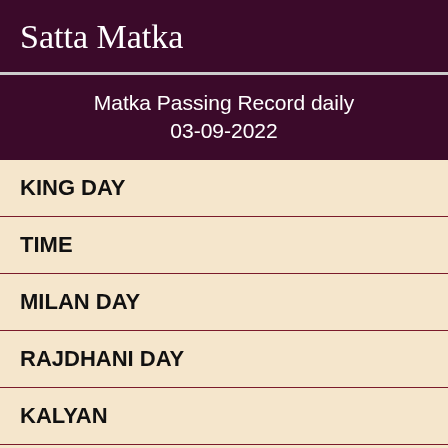Satta Matka
Matka Passing Record daily
03-09-2022
KING DAY
TIME
MILAN DAY
RAJDHANI DAY
KALYAN
KING NIGHT
MILAN NIGHT